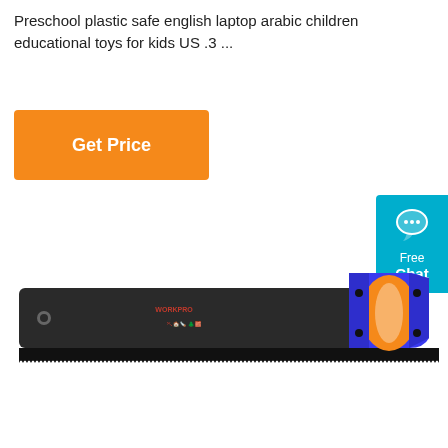Preschool plastic safe english laptop arabic children educational toys for kids US .3 ...
[Figure (other): Orange 'Get Price' button]
[Figure (other): Cyan chat widget with speech bubble icon and 'Free Chat' text]
[Figure (photo): A handsaw with a dark grey blade, blue and orange ergonomic handle, with small icons and text on the blade]